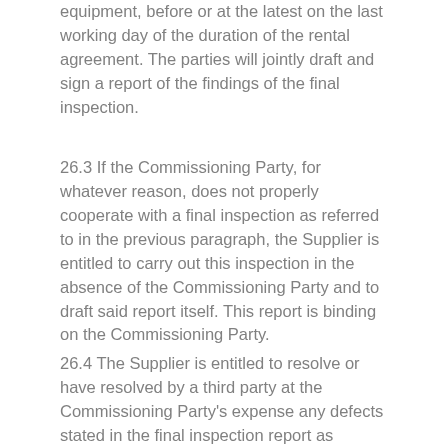equipment, before or at the latest on the last working day of the duration of the rental agreement. The parties will jointly draft and sign a report of the findings of the final inspection.
26.3 If the Commissioning Party, for whatever reason, does not properly cooperate with a final inspection as referred to in the previous paragraph, the Supplier is entitled to carry out this inspection in the absence of the Commissioning Party and to draft said report itself. This report is binding on the Commissioning Party.
26.4 The Supplier is entitled to resolve or have resolved by a third party at the Commissioning Party's expense any defects stated in the final inspection report as referred to in the previous two paragraphs and which